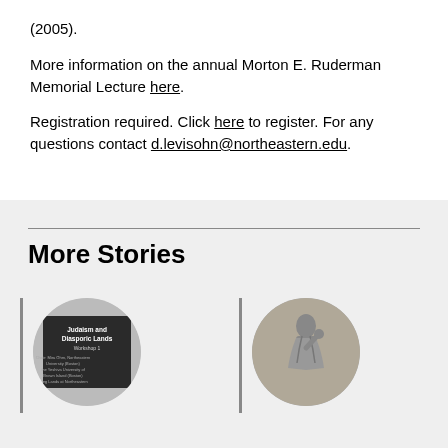(2005).
More information on the annual Morton E. Ruderman Memorial Lecture here.
Registration required. Click here to register. For any questions contact d.levisohn@northeastern.edu.
More Stories
[Figure (photo): Circular image showing a flyer or poster for 'Judaism and Diasporic Lands' workshop with text listing speakers and affiliations from Northeastern University and other institutions.]
[Figure (photo): Circular black and white image showing a statue or sculpture of a robed figure with hand raised.]